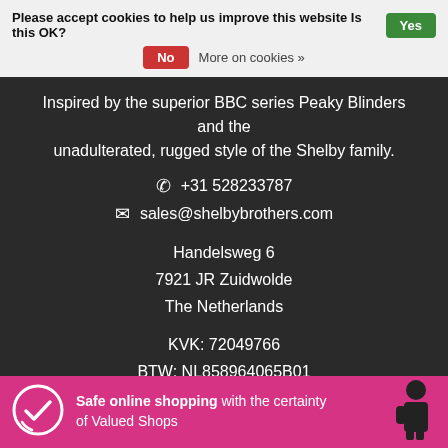Please accept cookies to help us improve this website Is this OK?  Yes  No  More on cookies »
Inspired by the superior BBC series Peaky Blinders and the unadulterated, rugged style of the Shelby family.
+31 528233787
sales@shelbybrothers.com
Handelsweg 6
7921 JR Zuidwolde
The Netherlands
KVK: 72049766
BTW: NL858964065B01
Safe online shopping with the certainty of Valued Shops